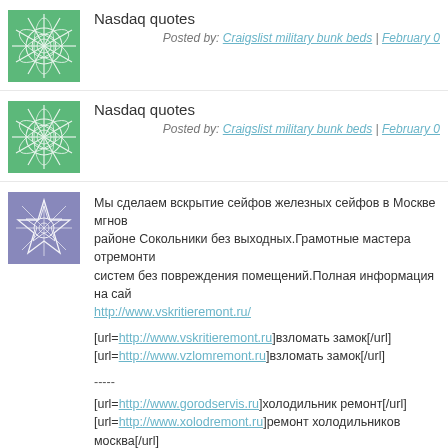[Figure (illustration): Green swirl decorative avatar icon]
Nasdaq quotes
Posted by: Craigslist military bunk beds | February 0...
[Figure (illustration): Green swirl decorative avatar icon]
Nasdaq quotes
Posted by: Craigslist military bunk beds | February 0...
[Figure (illustration): Blue/purple geometric star decorative avatar icon]
Мы сделаем вскрытие сейфов железных сейфов в Москве мгнов... районе Сокольники без выходных.Грамотные мастера отремонти... систем без повреждения помещений.Полная информация на сай... http://www.vskritieremont.ru/
[url=http://www.vskritieremont.ru]взломать замок[/url]
[url=http://www.vzlomremont.ru]взломать замок[/url]
-----
[url=http://www.gorodservis.ru]холодильник ремонт[/url]
[url=http://www.xolodremont.ru]ремонт холодильников москва[/url]
Posted by: Kiujhyuh | February 0...
[Figure (illustration): Teal/blue wave lines decorative avatar icon]
Best valentines quotes
Posted by: Devere group | February 0...